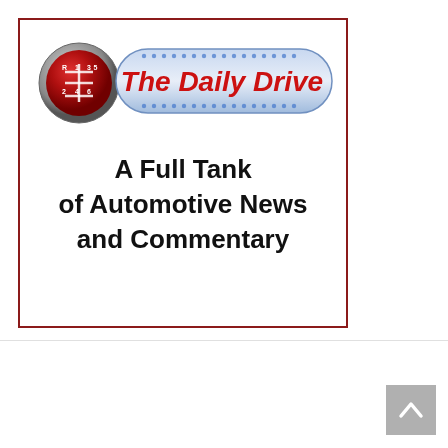[Figure (logo): The Daily Drive logo: a red gear-shift knob circle on the left, and a blue dotted banner pill shape with bold red italic text 'The Daily Drive' on the right. Below the logo, bold black text reads 'A Full Tank of Automotive News and Commentary'. The whole ad is inside a dark red border rectangle.]